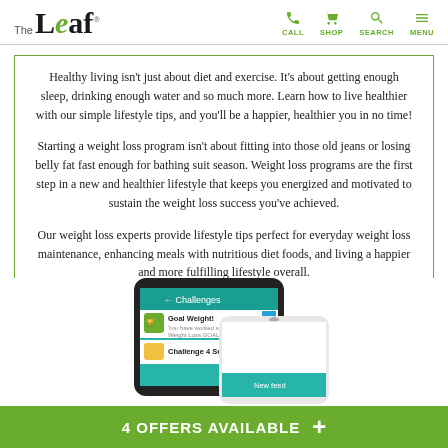The Leaf — CALL SHOP SEARCH MENU
Healthy living isn't just about diet and exercise. It's about getting enough sleep, drinking enough water and so much more. Learn how to live healthier with our simple lifestyle tips, and you'll be a happier, healthier you in no time!
Starting a weight loss program isn't about fitting into those old jeans or losing belly fat fast enough for bathing suit season. Weight loss programs are the first step in a new and healthier lifestyle that keeps you energized and motivated to sustain the weight loss success you've achieved.
Our weight loss experts provide lifestyle tips perfect for everyday weight loss maintenance, enhancing meals with nutritious diet foods, and living a happier and more fulfilling lifestyle overall.
[Figure (screenshot): Screenshot of a mobile app showing Challenges screen with Goal Weight and Challenge 4 Success items, overlaid with a second phone screenshot.]
4 OFFERS AVAILABLE +